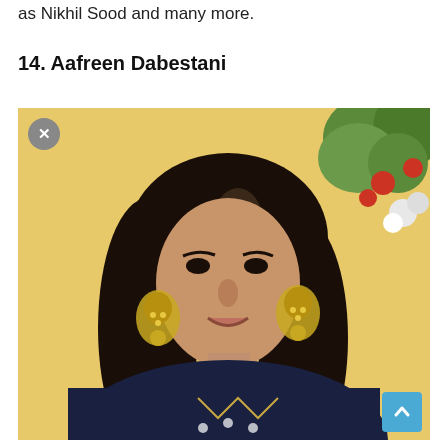as Nikhil Sood and many more.
14. Aafreen Dabestani
[Figure (photo): Portrait photo of Aafreen Dabestani, a woman with long dark hair, wearing large gold chandelier earrings and a dark navy embroidered outfit, posed against a yellow background with flowers visible in the upper right corner. A gray circle with X button appears in the top left corner of the image, and a blue scroll-to-top button is in the bottom right.]